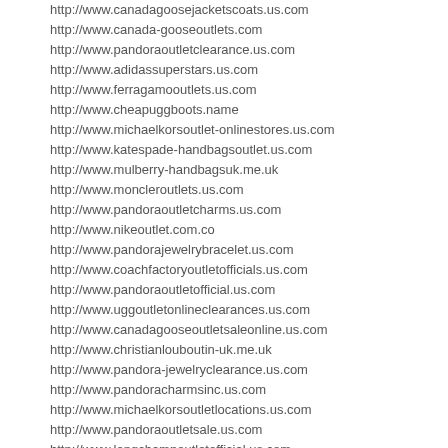http://www.canadagoosejacketscoats.us.com
http://www.canada-gooseoutlets.com
http://www.pandoraoutletclearance.us.com
http://www.adidassuperstars.us.com
http://www.ferragamooutlets.us.com
http://www.cheapuggboots.name
http://www.michaelkorsoutlet-onlinestores.us.com
http://www.katespade-handbagsoutlet.us.com
http://www.mulberry-handbagsuk.me.uk
http://www.moncleroutlets.us.com
http://www.pandoraoutletcharms.us.com
http://www.nikeoutlet.com.co
http://www.pandorajewelrybracelet.us.com
http://www.coachfactoryoutletofficials.us.com
http://www.pandoraoutletofficial.us.com
http://www.uggoutletonlineclearances.us.com
http://www.canadagooseoutletsaleonline.us.com
http://www.christianlouboutin-uk.me.uk
http://www.pandora-jewelryclearance.us.com
http://www.pandoracharmsinc.us.com
http://www.michaelkorsoutletlocations.us.com
http://www.pandoraoutletsale.us.com
http://www.longchampoutletofficial.us.com
http://www.poloralphlauren-uk.org.uk
http://www.coachoutletss.us.com
http://www.coachfactoryoutletcoach.us.com